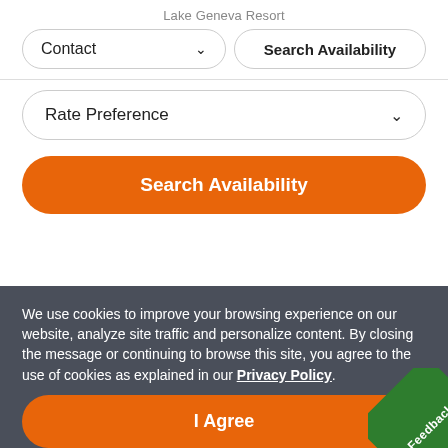Lake Geneva Resort
Contact ▾
Search Availability
Rate Preference ▾
Search Availability
We use cookies to improve your browsing experience on our website, analyze site traffic and personalize content. By closing the message or continuing to browse this site, you agree to the use of cookies as explained in our Privacy Policy.
I Agree